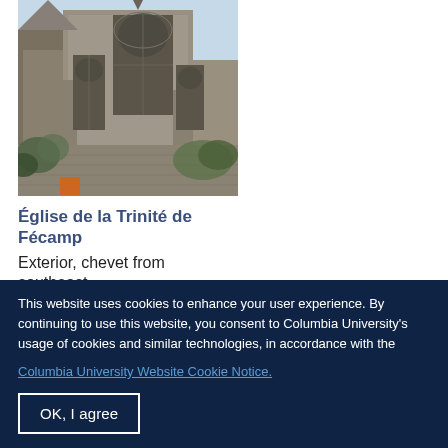[Figure (photo): Photograph of Église de la Trinité de Fécamp, showing the gothic cathedral exterior with tall stone walls, large ornate windows, flying buttresses, and surrounding foliage and walls.]
Église de la Trinité de Fécamp
Exterior, chevet from southeast
This website uses cookies to enhance your user experience. By continuing to use this website, you consent to Columbia University's usage of cookies and similar technologies, in accordance with the
Columbia University Website Cookie Notice.
OK, I agree